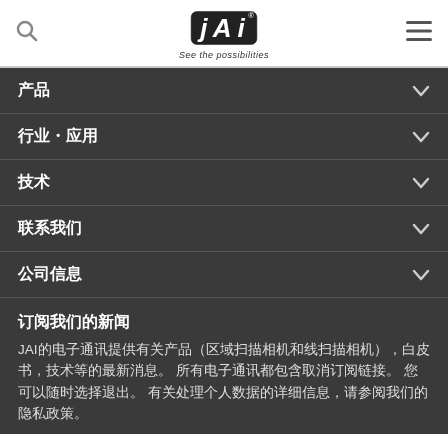JAI — See the possibilities
产品
行业・应用
技术
联系我们
公司信息
订阅我们的新闻
JAI的电子通讯提供有关产品（区域扫描相机和线扫描相机），白皮书，技术等的最新消息。所有电子通讯都包含取消订阅链接。您可以随时选择退出。有关处理个人数据的详细信息，请参阅我们的隐私政策。